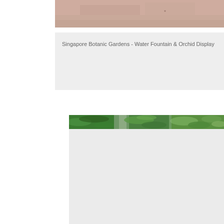[Figure (photo): Top cropped photo showing a pinkish/beige texture, likely a close-up of skin or a surface, partially visible at the top of the page]
Singapore Botanic Gardens - Water Fountain & Orchid Display
[Figure (photo): A strip of green tropical foliage/plants photo visible at the top of a card, with lush green leaves including what appears to be ferns and broad-leafed plants]